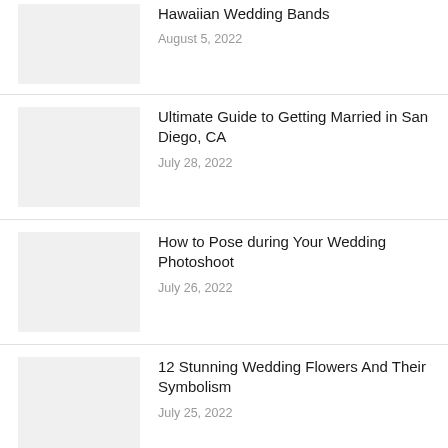Hawaiian Wedding Bands
August 5, 2022
Ultimate Guide to Getting Married in San Diego, CA
July 28, 2022
How to Pose during Your Wedding Photoshoot
July 26, 2022
12 Stunning Wedding Flowers And Their Symbolism
July 25, 2022